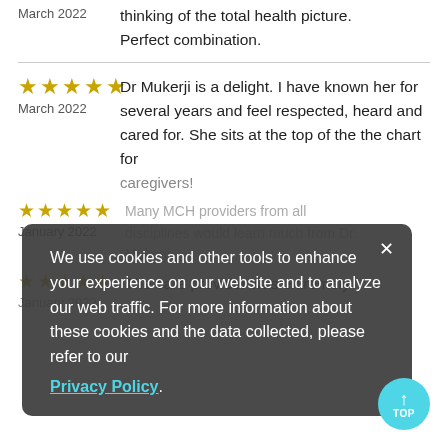March 2022
thinking of the total health picture. Perfect combination.
★★★★★ March 2022
Dr Mukerji is a delight. I have known her for several years and feel respected, heard and cared for. She sits at the top of the the chart for caregivers!
★★★★★ January 2022
Many MCH providers from all disciplines would learn much from Dr. Mukerji.
★★★★★ January 2022
The care provider was extremely
We use cookies and other tools to enhance your experience on our website and to analyze our web traffic. For more information about these cookies and the data collected, please refer to our Privacy Policy.